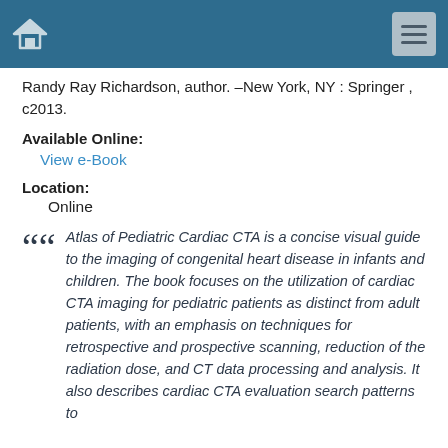Randy Ray Richardson, author. –New York, NY : Springer , c2013.
Available Online:
View e-Book
Location:
Online
Atlas of Pediatric Cardiac CTA is a concise visual guide to the imaging of congenital heart disease in infants and children. The book focuses on the utilization of cardiac CTA imaging for pediatric patients as distinct from adult patients, with an emphasis on techniques for retrospective and prospective scanning, reduction of the radiation dose, and CT data processing and analysis. It also describes cardiac CTA evaluation search patterns to